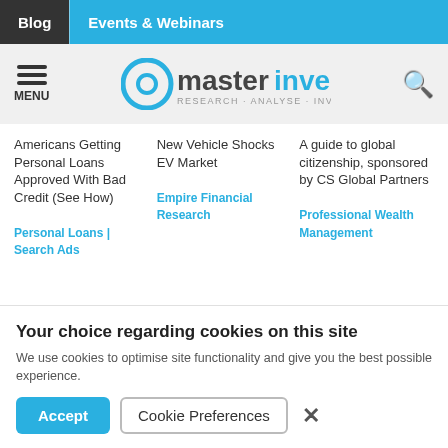Blog | Events & Webinars
[Figure (logo): Master Investor logo with tagline RESEARCH · ANALYSE · INVEST]
Americans Getting Personal Loans Approved With Bad Credit (See How)
Personal Loans | Search Ads
New Vehicle Shocks EV Market
Empire Financial Research
A guide to global citizenship, sponsored by CS Global Partners
Professional Wealth Management
Your choice regarding cookies on this site
We use cookies to optimise site functionality and give you the best possible experience.
Accept | Cookie Preferences | ×